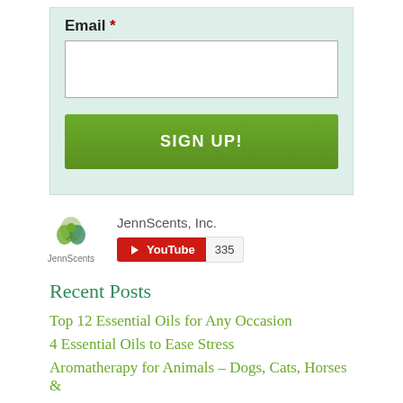Email *
[Figure (screenshot): Email input text field (empty, white background)]
[Figure (screenshot): Green SIGN UP! button]
[Figure (logo): JennScents logo with leaf graphic and text]
JennScents, Inc.
[Figure (screenshot): YouTube subscribe button widget showing 335 subscribers]
Recent Posts
Top 12 Essential Oils for Any Occasion
4 Essential Oils to Ease Stress
Aromatherapy for Animals – Dogs, Cats, Horses &